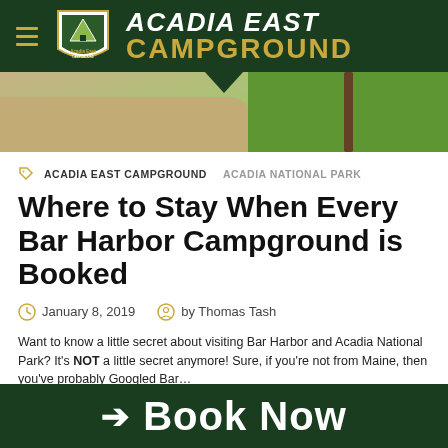[Figure (logo): Acadia East Campground header with logo shield, hamburger menu, and site title 'ACADIA EAST CAMPGROUND' on dark green background]
[Figure (photo): Outdoor campground scene showing dirt path and green grass with a wooden post]
ACADIA EAST CAMPGROUND  ACADIA NATIONAL PARK
Where to Stay When Every Bar Harbor Campground is Booked
January 8, 2019  by Thomas Tash
Want to know a little secret about visiting Bar Harbor and Acadia National Park? It's NOT a little secret anymore! Sure, if you're not from Maine, then you've probably Googled Bar…
➔ Book Now